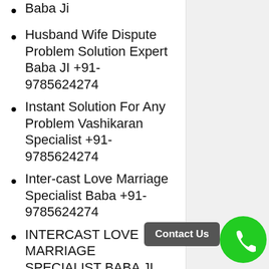Baba Ji
Husband Wife Dispute Problem Solution Expert Baba JI +91-9785624274
Instant Solution For Any Problem Vashikaran Specialist +91-9785624274
Inter-cast Love Marriage Specialist Baba +91-9785624274
INTERCAST LOVE MARRIAGE SPECIALIST BABA JI
LOVE MARRIAGE SPECIALIST BABA JI +91-9785624274
Love Problem Solution | Vashikaran Specialist +91-9785624274
Love Problem Solution Baba ji +91-9785624274